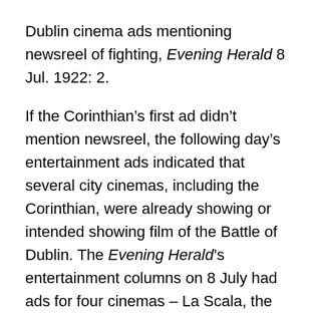Dublin cinema ads mentioning newsreel of fighting, Evening Herald 8 Jul. 1922: 2.
If the Corinthian's first ad didn't mention newsreel, the following day's entertainment ads indicated that several city cinemas, including the Corinthian, were already showing or intended showing film of the Battle of Dublin. The Evening Herald's entertainment columns on 8 July had ads for four cinemas – La Scala, the Corinthian, the Metropole and the Bohemian – all of which mentioned footage of the fighting. The Metropole seems not to have been open on that Saturday but advertised its Monday programme as including The Battle of the Four Courts and Scenes of the Fighting in the City, if the latter was an actual film title. The other three cinemas were open, the Corinthian and Bohemian including The Battle of the Four